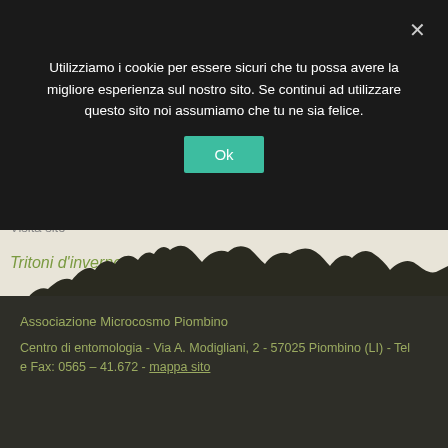[Figure (screenshot): Cookie consent overlay on a website. Dark semi-transparent banner with Italian cookie notice text, an Ok button, and a close X button. Behind it, a nature/entomology website with beige background, partially visible title, a silhouette landscape, and a dark footer.]
Utilizziamo i cookie per essere sicuri che tu possa avere la migliore esperienza sul nostro sito. Se continui ad utilizzare questo sito noi assumiamo che tu ne sia felice.
Ok
Tritoni d'inverno
Associazione Microcosmo Piombino
Centro di entomologia - Via A. Modigliani, 2 - 57025 Piombino (LI) - Tel e Fax: 0565 – 41.672 - mappa sito